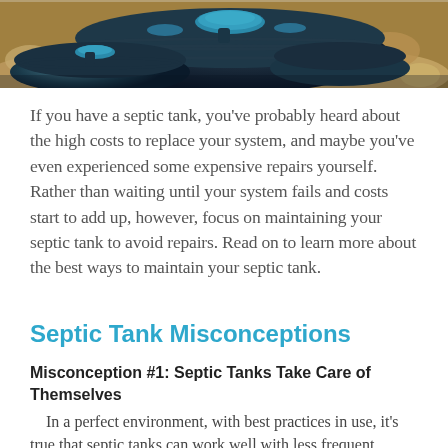[Figure (photo): A black plastic septic tank system partially buried in rocky/sandy ground, viewed from above, showing multiple tank chambers with green caps/lids.]
If you have a septic tank, you've probably heard about the high costs to replace your system, and maybe you've even experienced some expensive repairs yourself. Rather than waiting until your system fails and costs start to add up, however, focus on maintaining your septic tank to avoid repairs. Read on to learn more about the best ways to maintain your septic tank.
Septic Tank Misconceptions
Misconception #1: Septic Tanks Take Care of Themselves
In a perfect environment, with best practices in use, it's true that septic tanks can work well with less frequent intervention. However, even the smallest change to the